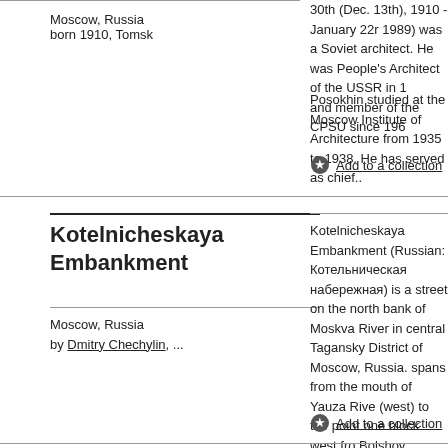Moscow, Russia
born 1910, Tomsk
30th (Dec. 13th), 1910 - January 22nd, 1989) was a Soviet architect. He was People's Architect of the USSR in 19... and member of the CPSU since 196...
Posokhin studied at the Moscow Institute of Architecture from 1935 to 1938. He has served as chief..
Add to a collection
Kotelnicheskaya Embankment
Moscow, Russia
by Dmitry Chechylin, ...
Kotelnicheskaya Embankment (Russian: Котельническая набережная) is a street on the north bank of Moskva River in central Tagansky District of Moscow, Russia. spans from the mouth of Yauza Rive (west) to the point one block west from Bolshoy Krashokholmsky Bridge (ea where it changes..
Add to a collection